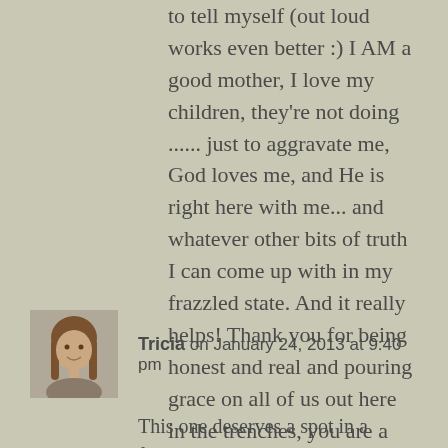to tell myself (out loud works even better :) I AM a good mother, I love my children, they're not doing ...... just to aggravate me, God loves me, and He is right here with me... and whatever other bits of truth I can come up with in my frazzled state. And it really helps! Thank you for being honest and real and pouring grace on all of us out here in the trenches, you are a blessing.
[Figure (photo): Small avatar photo of Tricia, a woman with brown hair, smiling]
Tricia on January 24, 2013 at 9:40 pm
This one deserves a spot in a future book. Quite simply perfectly what we all need to hear. (everyday)